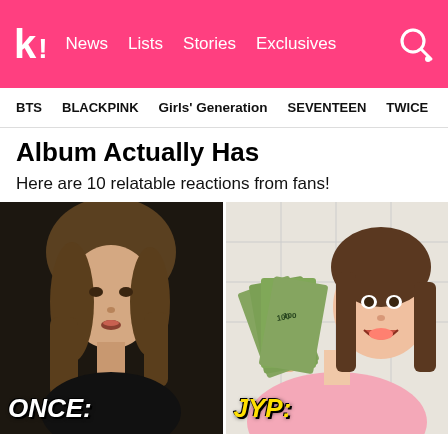K! News Lists Stories Exclusives
BTS   BLACKPINK   Girls' Generation   SEVENTEEN   TWICE
Album Actually Has
Here are 10 relatable reactions from fans!
[Figure (photo): Split image: left side shows a girl with brown hair looking surprised (labeled ONCE:), right side shows a smiling girl holding fanned-out US dollar bills (labeled JYP:)]